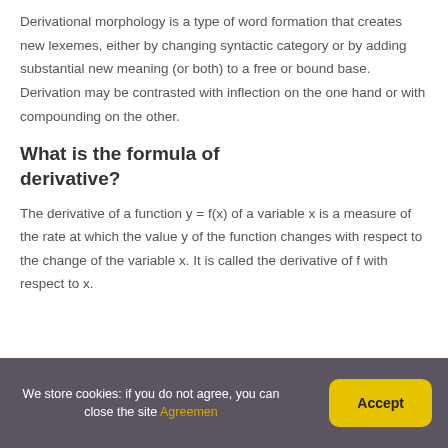Derivational morphology is a type of word formation that creates new lexemes, either by changing syntactic category or by adding substantial new meaning (or both) to a free or bound base. Derivation may be contrasted with inflection on the one hand or with compounding on the other.
What is the formula of derivative?
The derivative of a function y = f(x) of a variable x is a measure of the rate at which the value y of the function changes with respect to the change of the variable x. It is called the derivative of f with respect to x.
We store cookies: if you do not agree, you can close the site Agreemen